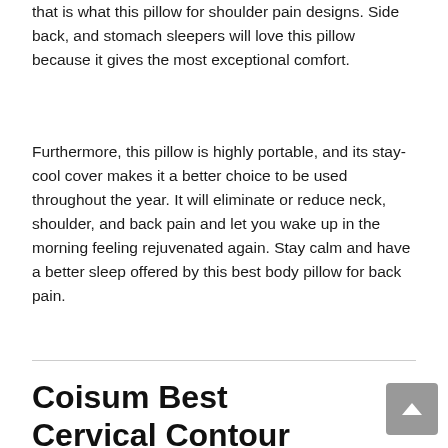that is what this pillow for shoulder pain designs. Side back, and stomach sleepers will love this pillow because it gives the most exceptional comfort.
Furthermore, this pillow is highly portable, and its stay-cool cover makes it a better choice to be used throughout the year. It will eliminate or reduce neck, shoulder, and back pain and let you wake up in the morning feeling rejuvenated again. Stay calm and have a better sleep offered by this best body pillow for back pain.
Coisum Best Cervical Contour Pillow